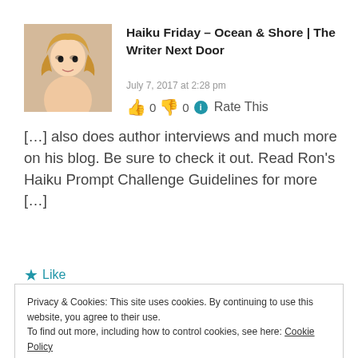[Figure (photo): Avatar photo of a young blonde woman]
Haiku Friday – Ocean & Shore | The Writer Next Door
July 7, 2017 at 2:28 pm
👍 0 👎 0 ℹ Rate This
[…] also does author interviews and much more on his blog. Be sure to check it out. Read Ron's Haiku Prompt Challenge Guidelines for more […]
★ Like
Privacy & Cookies: This site uses cookies. By continuing to use this website, you agree to their use.
To find out more, including how to control cookies, see here: Cookie Policy
Close and accept
👍 0 👎 0 ℹ Rate This